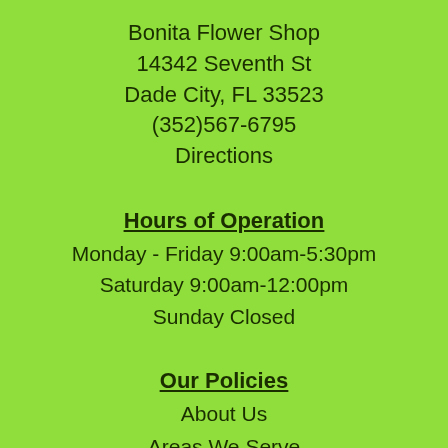Bonita Flower Shop
14342 Seventh St
Dade City, FL 33523
(352)567-6795
Directions
Hours of Operation
Monday - Friday 9:00am-5:30pm
Saturday 9:00am-12:00pm
Sunday Closed
Our Policies
About Us
Areas We Serve
Contact us
Corporate Accounts
Delivery
Fresh Flower Care
Privacy
Substitutio...